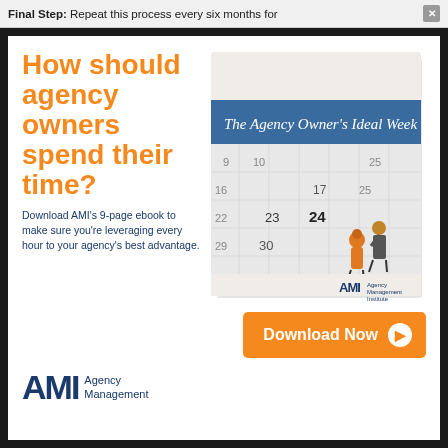Final Step: Repeat this process every six months for
How should agency owners spend their time?
[Figure (photo): Book cover of 'The Agency Owner's Ideal Week' showing a calendar with two miniature figurines standing on it, with AMI logo at bottom.]
Download AMI's 9-page ebook to make sure you're leveraging every hour to your agency's best advantage.
Download Now
[Figure (logo): AMI Agency Management logo with large dark blue letters AMI and text 'Agency Management' beside it.]